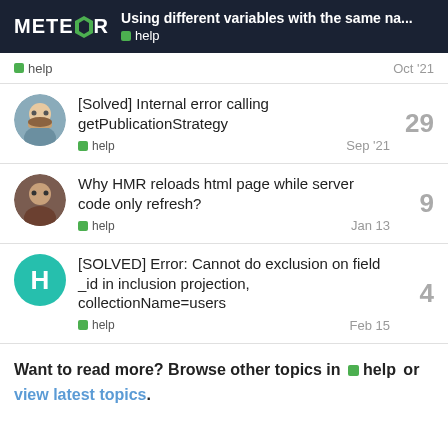Using different variables with the same na... | help
[Solved] Internal error calling getPublicationStrategy | help | Sep '21 | 29 replies
Why HMR reloads html page while server code only refresh? | help | Jan 13 | 9 replies
[SOLVED] Error: Cannot do exclusion on field _id in inclusion projection, collectionName=users | help | Feb 15 | 4 replies
Want to read more? Browse other topics in help or view latest topics.